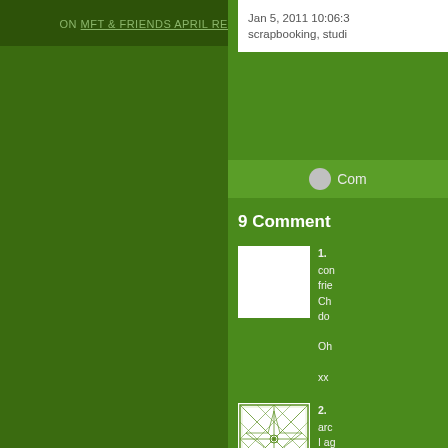ON MFT & FRIENDS APRIL RELEASE-GUEST
Jan 5, 2011 10:06:3 scrapbooking, studi
Comments (Com...)
9 Comments
1. con frie Ch do Oh xx
2. arc I ag the